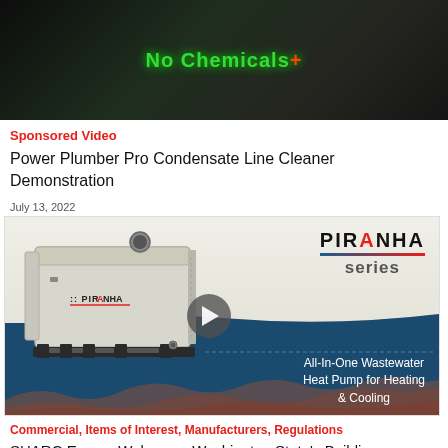[Figure (screenshot): Video thumbnail showing dark background with green 'No Chemicals' text overlay, appears to be a product demonstration video thumbnail]
Sponsored Video
Power Plumber Pro Condensate Line Cleaner Demonstration
July 13, 2022
[Figure (screenshot): Piranha Series product video thumbnail showing a large industrial heat pump unit (HVAC equipment) on a pallet, with 'PIRANHA series' branding and text 'All-In-One Wastewater Heat Pump for Heating & Cooling', blue band at bottom with wave decoration, play button overlay]
Commercial, Items of Interest, Manufacturers, Regulations
SHARC Energy Welcomes Washington State's Building